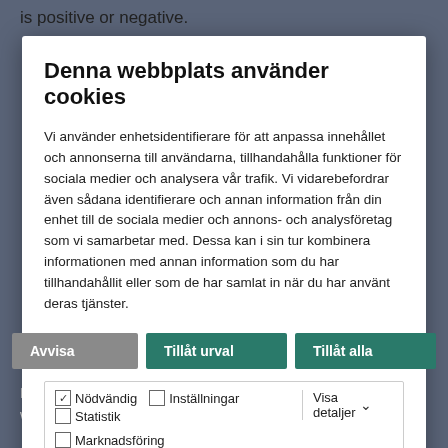is positive or negative.
Denna webbplats använder cookies
Vi använder enhetsidentifierare för att anpassa innehållet och annonserna till användarna, tillhandahålla funktioner för sociala medier och analysera vår trafik. Vi vidarebefordrar även sådana identifierare och annan information från din enhet till de sociala medier och annons- och analysföretag som vi samarbetar med. Dessa kan i sin tur kombinera informationen med annan information som du har tillhandahållit eller som de har samlat in när du har använt deras tjänster.
Avvisa | Tillåt urval | Tillåt alla
Nödvändig  Inställningar  Statistik  Marknadsföring  Visa detaljer
Norsk Hydro ASA will host open presentations in connection with the release of financial results. The